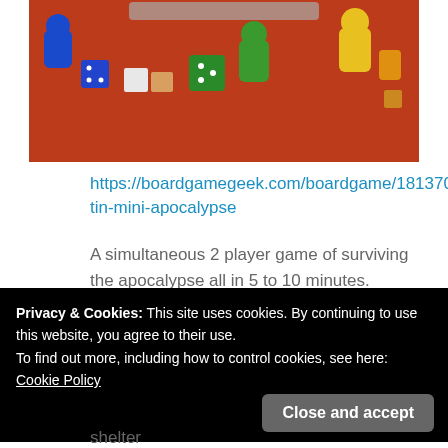[Figure (photo): Board game pieces including blue, green, yellow meeples, white and orange wooden cubes, green and blue dice on a red surface, with a metal tin in the background]
https://boardgamegeek.com/boardgame/181370/mint-tin-mini-apocalypse
A simultaneous 2 player game of surviving the apocalypse all in 5 to 10 minutes.
It's a nice day in Meepleton. You & friends are enjoying the day without a care in the world . . . BOOM! Transformer blow: cars crash, people fall
Privacy & Cookies: This site uses cookies. By continuing to use this website, you agree to their use.
To find out more, including how to control cookies, see here:
Cookie Policy
shelter